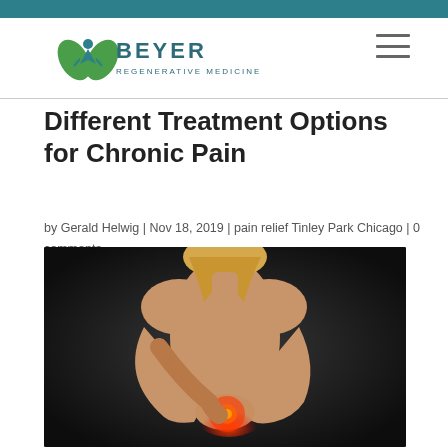[Figure (logo): Beyer Regenerative Medicine logo with green leaf and figure icon]
Different Treatment Options for Chronic Pain
by Gerald Helwig | Nov 18, 2019 | pain relief Tinley Park Chicago | 0 comments
[Figure (photo): Person showing chronic pain in wrist/elbow area with red glow highlighting the pain location, dark background]